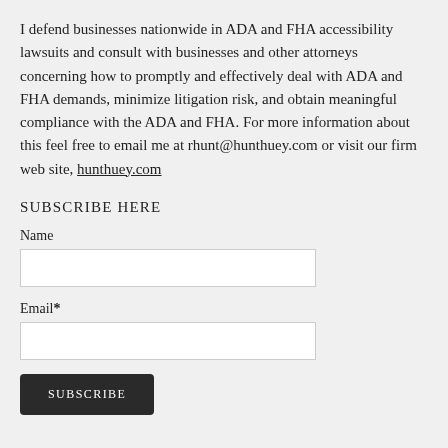I defend businesses nationwide in ADA and FHA accessibility lawsuits and consult with businesses and other attorneys concerning how to promptly and effectively deal with ADA and FHA demands, minimize litigation risk, and obtain meaningful compliance with the ADA and FHA. For more information about this feel free to email me at rhunt@hunthuey.com or visit our firm web site, hunthuey.com
SUBSCRIBE HERE
Name
Email*
SUBSCRIBE
SEARCH FOR EARLIER POSTS
Search
OLDER POSTS BY DATE